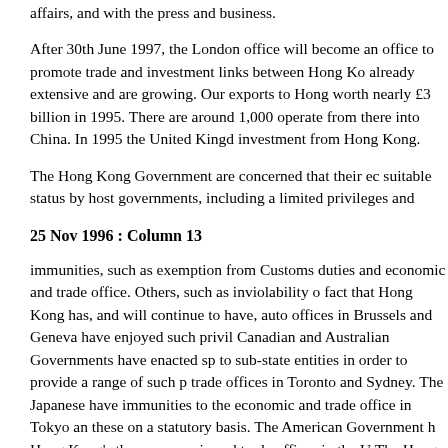affairs, and with the press and business.
After 30th June 1997, the London office will become an office to promote trade and investment links between Hong Kong already extensive and are growing. Our exports to Hong worth nearly £3 billion in 1995. There are around 1,000 operate from there into China. In 1995 the United Kingdom investment from Hong Kong.
The Hong Kong Government are concerned that their economic suitable status by host governments, including a limited privileges and
25 Nov 1996 : Column 13
immunities, such as exemption from Customs duties and economic and trade office. Others, such as inviolability of fact that Hong Kong has, and will continue to have, auto offices in Brussels and Geneva have enjoyed such privileges. Canadian and Australian Governments have enacted special to sub-state entities in order to provide a range of such privileges trade offices in Toronto and Sydney. The Japanese have immunities to the economic and trade office in Tokyo and these on a statutory basis. The American Government has Hong Kong's three economic and trade offices in the United Kingdom. The Hong Kong Government look to the British Government and as a co-signatory to the Joint Declaration, to help